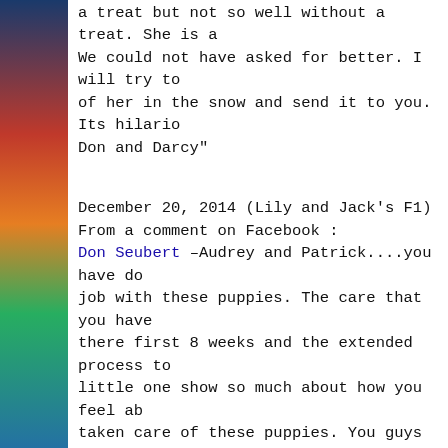[Figure (photo): Colorful vertical strip on the left side of the page, showing what appears to be a parrot or colorful bird image.]
a treat but not so well without a treat. She is a We could not have asked for better. I will try to of her in the snow and send it to you. Its hilario Don and Darcy"
December 20, 2014 (Lily and Jack's F1)
From a comment on Facebook :
Don Seubert –Audrey and Patrick....you have do job with these puppies. The care that you have there first 8 weeks and the extended process to little one show so much about how you feel ab taken care of these puppies. You guys are excel caring breeders. We are lucky to have found yo Cocoa(Maya).